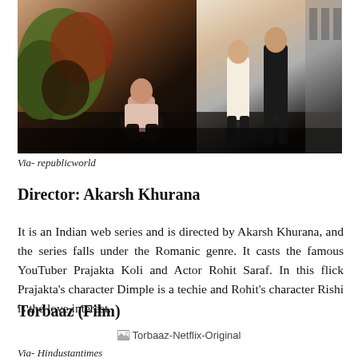[Figure (photo): A photo showing people, one crouching among plants on the left, and two people standing on the right, set outdoors/indoors background.]
Via- republicworld
Director: Akarsh Khurana
It is an Indian web series and is directed by Akarsh Khurana, and the series falls under the Romanic genre. It casts the famous YouTuber Prajakta Koli and Actor Rohit Saraf. In this flick Prajakta's character Dimple is a techie and Rohit's character Rishi is the love interest.
Torbaaz (Film)
[Figure (photo): Image placeholder for Torbaaz-Netflix-Original]
Via- Hindustantimes